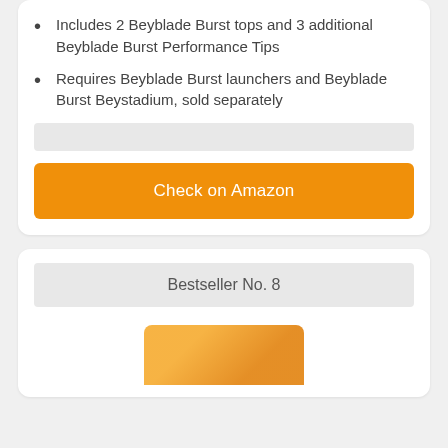Includes 2 Beyblade Burst tops and 3 additional Beyblade Burst Performance Tips
Requires Beyblade Burst launchers and Beyblade Burst Beystadium, sold separately
Check on Amazon
Bestseller No. 8
[Figure (photo): Product image partially visible at bottom of page]